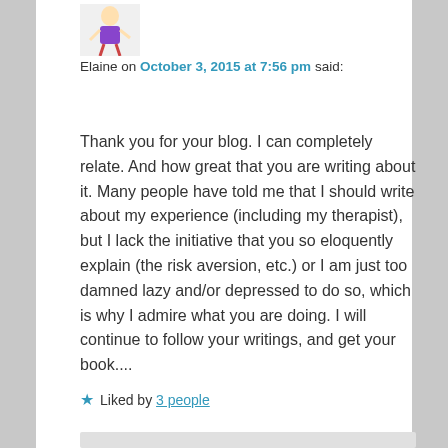[Figure (illustration): Small avatar/illustration of a cartoon character with purple clothing]
Elaine on October 3, 2015 at 7:56 pm said:
Thank you for your blog. I can completely relate. And how great that you are writing about it. Many people have told me that I should write about my experience (including my therapist), but I lack the initiative that you so eloquently explain (the risk aversion, etc.) or I am just too damned lazy and/or depressed to do so, which is why I admire what you are doing. I will continue to follow your writings, and get your book....
★ Liked by 3 people